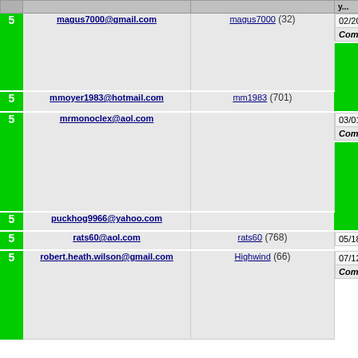| Score | Email | Username | Date | Type/Comments |
| --- | --- | --- | --- | --- |
| 5 | magus7000@gmail.com | magus7000 (32) | 02/20/2015 | Sol... / Comments: Gre... |
| 5 | matt92fs@hotmail.com | Matt92FS (11) | 06/18/2018 | Trad... / Comments: Go... communication a... shipping. |
| 5 | mmoyer1983@hotmail.com | mm1983 (701) | 04/20/2015 | Trad... |
| 5 | mrmonoclex@aol.com |  | 03/01/2015 | Trad... / Comments: A p... trade with! |
| 5 | myysterio2@yahoo.com | Myysterio (127) | 12/25/2014 | Othe... / Comments: I m... across the borde... sums of money... but it's funny)! C... |
| 5 | puckhog9966@yahoo.com |  | 06/27/2015 | Trad... |
| 5 | rats60@aol.com | rats60 (768) | 05/18/2015 | Trad... |
| 5 | robert.heath.wilson@gmail.com | Highwind (66) | 07/12/2017 | Trad... / Comments: Exc... easy to deal with... was higher end... on each side. W... trade with again... |